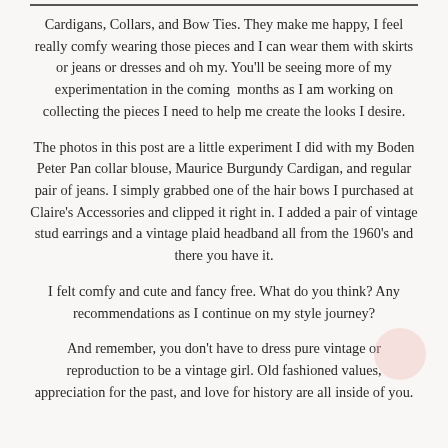Cardigans, Collars, and Bow Ties. They make me happy, I feel really comfy wearing those pieces and I can wear them with skirts or jeans or dresses and oh my. You'll be seeing more of my experimentation in the coming months as I am working on collecting the pieces I need to help me create the looks I desire.
The photos in this post are a little experiment I did with my Boden Peter Pan collar blouse, Maurice Burgundy Cardigan, and regular pair of jeans. I simply grabbed one of the hair bows I purchased at Claire's Accessories and clipped it right in. I added a pair of vintage stud earrings and a vintage plaid headband all from the 1960's and there you have it.
I felt comfy and cute and fancy free. What do you think? Any recommendations as I continue on my style journey?
And remember, you don't have to dress pure vintage or reproduction to be a vintage girl. Old fashioned values, appreciation for the past, and love for history are all inside of you.